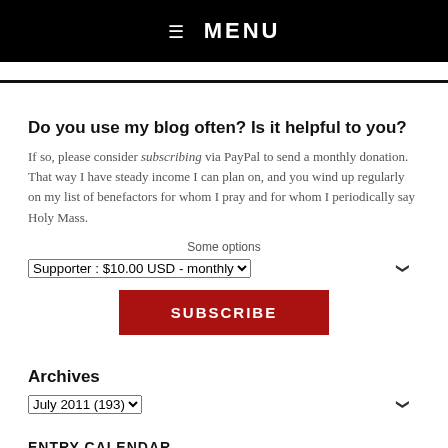☰ MENU
Do you use my blog often? Is it helpful to you?
If so, please consider subscribing via PayPal to send a monthly donation. That way I have steady income I can plan on, and you wind up regularly on my list of benefactors for whom I pray and for whom I periodically say Holy Mass.
Some options
Supporter : $10.00 USD - monthly
SUBSCRIBE
Archives
July 2011  (193)
ENTRY CALENDAR